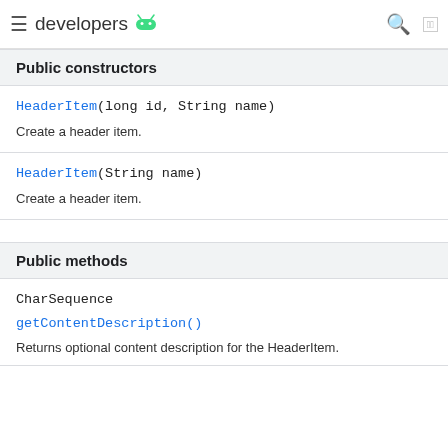developers (Android logo)
Public constructors
HeaderItem(long id, String name)
Create a header item.
HeaderItem(String name)
Create a header item.
Public methods
CharSequence
getContentDescription()
Returns optional content description for the HeaderItem.